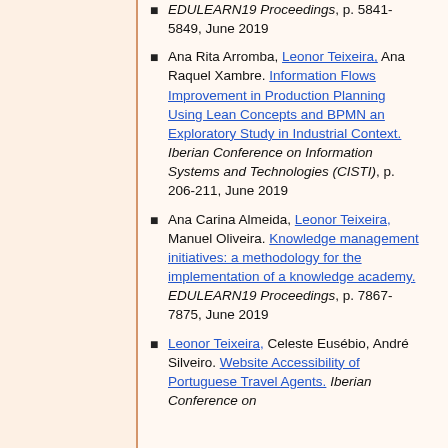EDULEARN19 Proceedings, p. 5841-5849, June 2019
Ana Rita Arromba, Leonor Teixeira, Ana Raquel Xambre. Information Flows Improvement in Production Planning Using Lean Concepts and BPMN an Exploratory Study in Industrial Context. Iberian Conference on Information Systems and Technologies (CISTI), p. 206-211, June 2019
Ana Carina Almeida, Leonor Teixeira, Manuel Oliveira. Knowledge management initiatives: a methodology for the implementation of a knowledge academy. EDULEARN19 Proceedings, p. 7867-7875, June 2019
Leonor Teixeira, Celeste Eusébio, André Silveiro. Website Accessibility of Portuguese Travel Agents. Iberian Conference on